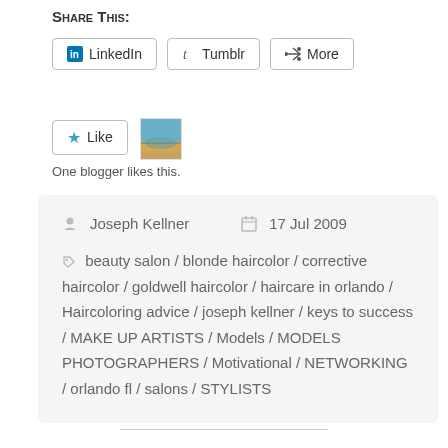Share This:
LinkedIn  Tumblr  More
Like  One blogger likes this.
Joseph Kellner   17 Jul 2009

beauty salon / blonde haircolor / corrective haircolor / goldwell haircolor / haircare in orlando / Haircoloring advice / joseph kellner / keys to success / MAKE UP ARTISTS / Models / MODELS PHOTOGRAPHERS / Motivational / NETWORKING / orlando fl / salons / STYLISTS